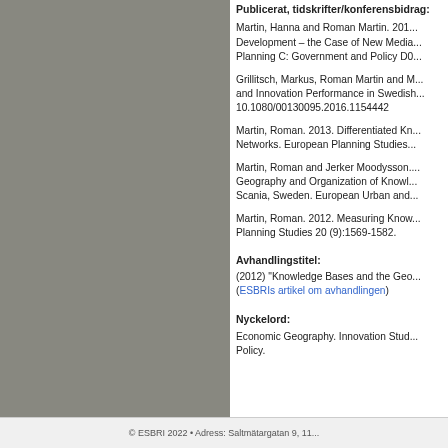Publicerat, tidskrifter/konferensbidrag:
Martin, Hanna and Roman Martin. 201... Development – the Case of New Media... Planning C: Government and Policy D0...
Grillitsch, Markus, Roman Martin and M... and Innovation Performance in Swedish... 10.1080/00130095.2016.1154442
Martin, Roman. 2013. Differentiated Kn... Networks. European Planning Studies...
Martin, Roman and Jerker Moodysson.... Geography and Organization of Knowl... Scania, Sweden. European Urban and...
Martin, Roman. 2012. Measuring Know... Planning Studies 20 (9):1569-1582.
Avhandlingstitel:
(2012) "Knowledge Bases and the Geo... (ESBRIs artikel om avhandlingen)
Nyckelord:
Economic Geography. Innovation Studies... Policy.
© ESBRI 2022 • Adress: Saltmätargatan 9, 11...